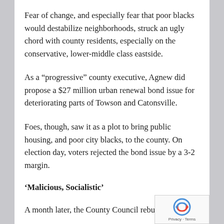Fear of change, and especially fear that poor blacks would destabilize neighborhoods, struck an ugly chord with county residents, especially on the conservative, lower-middle class eastside.
As a “progressive” county executive, Agnew did propose a $27 million urban renewal bond issue for deteriorating parts of Towson and Catonsville.
Foes, though, saw it as a plot to bring public housing, and poor city blacks, to the county. On election day, voters rejected the bond issue by a 3-2 margin.
‘Malicious, Socialistic’
A month later, the County Council rebuffed Agnew’s